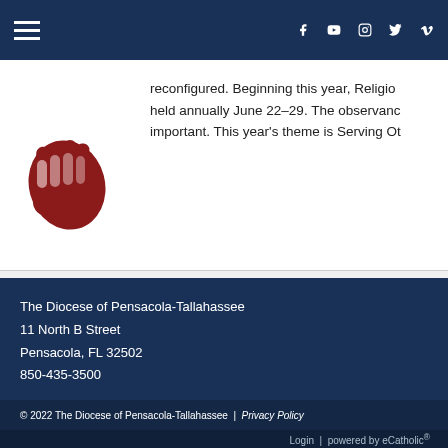Navigation bar with hamburger menu and social icons (Facebook, YouTube, Instagram, Twitter, Vimeo)
[Figure (illustration): Red/dark red hands clasped together icon on white background]
reconfigured. Beginning this year, Religious held annually June 22–29. The observance important. This year's theme is Serving Ot
The Diocese of Pensacola-Tallahassee
11 North B Street
Pensacola, FL 32502
850-435-3500
© 2022 The Diocese of Pensacola-Tallahassee | Privacy Policy
Login | powered by eCatholic®